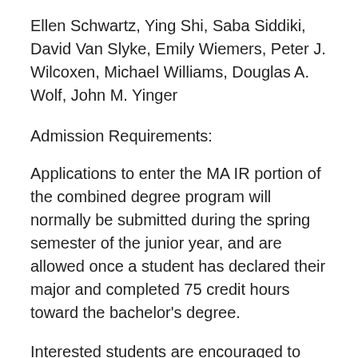Ellen Schwartz, Ying Shi, Saba Siddiki, David Van Slyke, Emily Wiemers, Peter J. Wilcoxen, Michael Williams, Douglas A. Wolf, John M. Yinger
Admission Requirements:
Applications to enter the MA IR portion of the combined degree program will normally be submitted during the spring semester of the junior year, and are allowed once a student has declared their major and completed 75 credit hours toward the bachelor's degree.
Interested students are encouraged to meet with the admissions director of the MA IR...